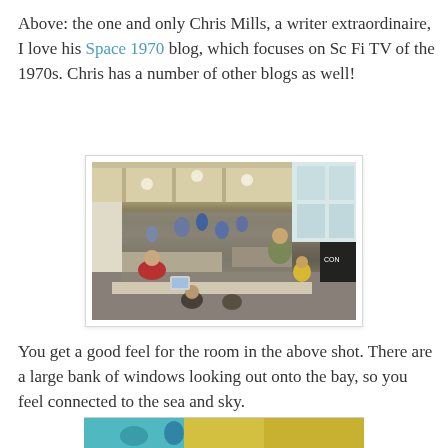Above: the one and only Chris Mills, a writer extraordinaire, I love his Space 1970 blog, which focuses on Sc Fi TV of the 1970s. Chris has a number of other blogs as well!
[Figure (photo): A convention or event hall with many people seated and standing at tables. Large windows visible on the right side. A man in a red shirt is seated at a table in the foreground, and a child in a yellow shirt is visible in the middle-right area.]
You get a good feel for the room in the above shot. There are a large bank of windows looking out onto the bay, so you feel connected to the sea and sky.
[Figure (photo): Partial view of another photo at the bottom of the page, showing colorful elements (teal/yellow).]